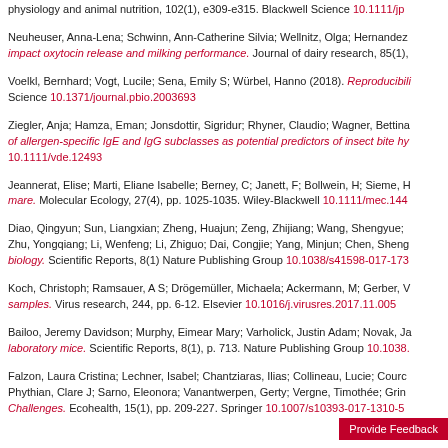physiology and animal nutrition, 102(1), e309-e315. Blackwell Science 10.1111/jp
Neuheuser, Anna-Lena; Schwinn, Ann-Catherine Silvia; Wellnitz, Olga; Hernandez... impact oxytocin release and milking performance. Journal of dairy research, 85(1),
Voelkl, Bernhard; Vogt, Lucile; Sena, Emily S; Würbel, Hanno (2018). Reproducibili... Science 10.1371/journal.pbio.2003693
Ziegler, Anja; Hamza, Eman; Jonsdottir, Sigridur; Rhyner, Claudio; Wagner, Bettina... of allergen-specific IgE and IgG subclasses as potential predictors of insect bite hy... 10.1111/vde.12493
Jeannerat, Elise; Marti, Eliane Isabelle; Berney, C; Janett, F; Bollwein, H; Sieme, H... mare. Molecular Ecology, 27(4), pp. 1025-1035. Wiley-Blackwell 10.1111/mec.144
Diao, Qingyun; Sun, Liangxian; Zheng, Huajun; Zeng, Zhijiang; Wang, Shengyue;... Zhu, Yongqiang; Li, Wenfeng; Li, Zhiguo; Dai, Congjie; Yang, Minjun; Chen, Sheng... biology. Scientific Reports, 8(1) Nature Publishing Group 10.1038/s41598-017-173
Koch, Christoph; Ramsauer, A S; Drögemüller, Michaela; Ackermann, M; Gerber, V... samples. Virus research, 244, pp. 6-12. Elsevier 10.1016/j.virusres.2017.11.005
Bailoo, Jeremy Davidson; Murphy, Eimear Mary; Varholick, Justin Adam; Novak, Ja... laboratory mice. Scientific Reports, 8(1), p. 713. Nature Publishing Group 10.1038.
Falzon, Laura Cristina; Lechner, Isabel; Chantziaras, Ilias; Collineau, Lucie; Courc... Phythian, Clare J; Sarno, Eleonora; Vanantwerpen, Gerty; Vergne, Timothée; Grin... Challenges. Ecohealth, 15(1), pp. 209-227. Springer 10.1007/s10393-017-1310-5